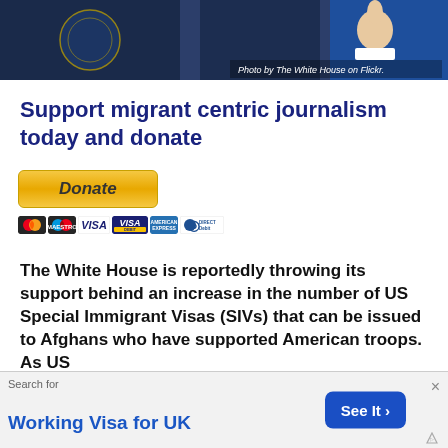[Figure (photo): Photo showing a person in a suit giving a thumbs up, with official government seals and blue backdrop. Caption: Photo by The White House on Flickr.]
Support migrant centric journalism today and donate
[Figure (other): PayPal Donate button with payment card icons: MasterCard, Maestro, Visa, Visa Debit, American Express, Direct Debit]
The White House is reportedly throwing its support behind an increase in the number of US Special Immigrant Visas (SIVs) that can be issued to Afghans who have supported American troops. As US
Search for
Working Visa for UK
See It >